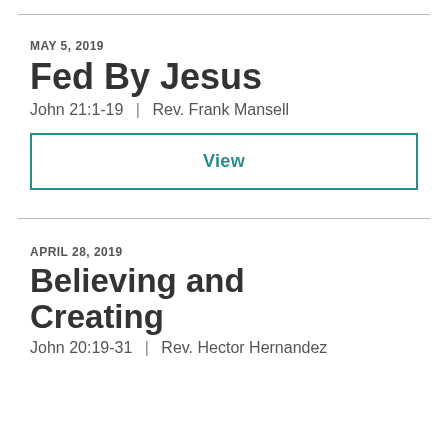MAY 5, 2019
Fed By Jesus
John 21:1-19 | Rev. Frank Mansell
View
APRIL 28, 2019
Believing and Creating
John 20:19-31 | Rev. Hector Hernandez